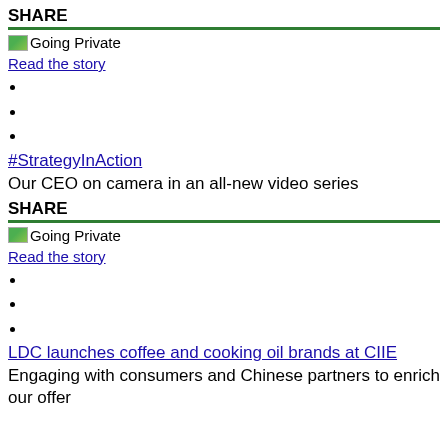SHARE
[Figure (illustration): Going Private image thumbnail with small icon]
Read the story
#StrategyInAction
Our CEO on camera in an all-new video series
SHARE
[Figure (illustration): Going Private image thumbnail with small icon]
Read the story
LDC launches coffee and cooking oil brands at CIIE
Engaging with consumers and Chinese partners to enrich our offer